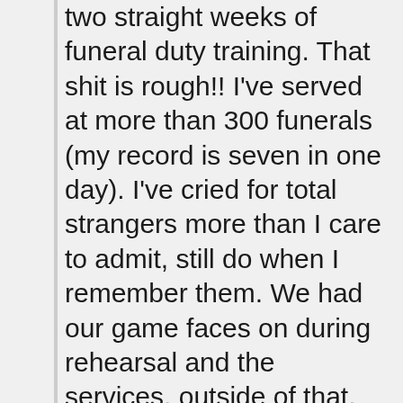two straight weeks of funeral duty training. That shit is rough!! I've served at more than 300 funerals (my record is seven in one day). I've cried for total strangers more than I care to admit, still do when I remember them. We had our game faces on during rehearsal and the services, outside of that, we were a bunch of jokers. If you don't laugh, you cry. Everyone calling for the dishonorable discharge of an entire team need to either volunteer for funeral duty or STFU.
I know, not pregnancy related, but that's my big WTF for this week.